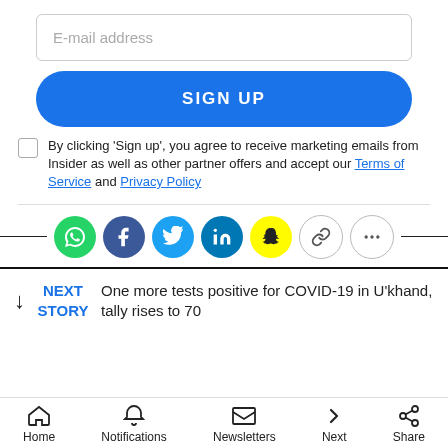E-mail address
SIGN UP
By clicking 'Sign up', you agree to receive marketing emails from Insider as well as other partner offers and accept our Terms of Service and Privacy Policy
[Figure (infographic): Social share icons row: WhatsApp (green), Facebook (dark blue), Twitter (light blue), LinkedIn (blue), Snapchat (yellow), Link (gray outline), More (gray outline), flanked by horizontal lines]
NEXT STORY  One more tests positive for COVID-19 in U'khand, tally rises to 70
Home  Notifications  Newsletters  Next  Share